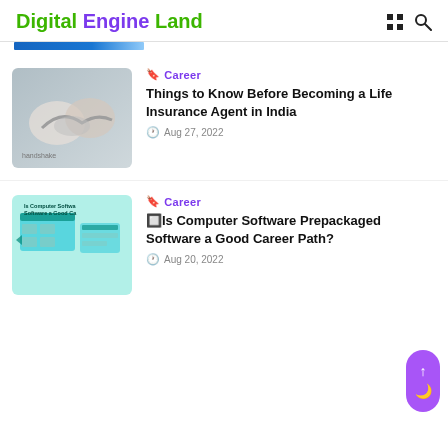Digital Engine Land
[Figure (photo): Partially visible blue image at top]
Career
Things to Know Before Becoming a Life Insurance Agent in India
Aug 27, 2022
[Figure (photo): Computer software prepackaged software illustration with teal/mint background showing desktop UI elements]
Career
🔲Is Computer Software Prepackaged Software a Good Career Path?
Aug 20, 2022